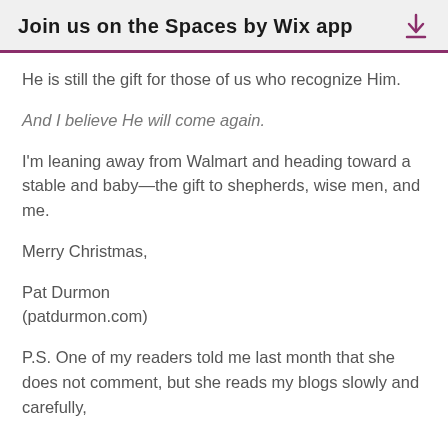Join us on the Spaces by Wix app
He is still the gift for those of us who recognize Him.
And I believe He will come again.
I'm leaning away from Walmart and heading toward a stable and baby—the gift to shepherds, wise men, and me.
Merry Christmas,
Pat Durmon
(patdurmon.com)
P.S. One of my readers told me last month that she does not comment, but she reads my blogs slowly and carefully,